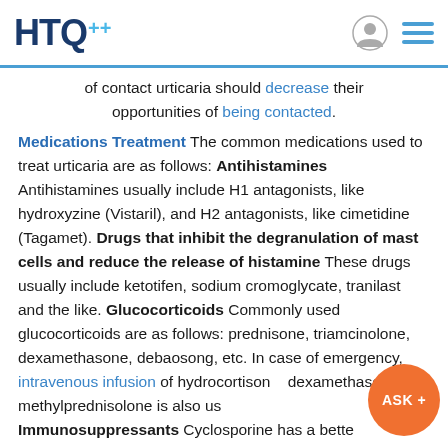HTQ+
of contact urticaria should decrease their opportunities of being contacted.
Medications Treatment The common medications used to treat urticaria are as follows: Antihistamines Antihistamines usually include H1 antagonists, like hydroxyzine (Vistaril), and H2 antagonists, like cimetidine (Tagamet). Drugs that inhibit the degranulation of mast cells and reduce the release of histamine These drugs usually include ketotifen, sodium cromoglycate, tranilast and the like. Glucocorticoids Commonly used glucocorticoids are as follows: prednisone, triamcinolone, dexamethasone, debaosong, etc. In case of emergency, intravenous infusion of hydrocortisone, dexamethasone or methylprednisolone is also used. Immunosuppressants Cyclosporine has a better